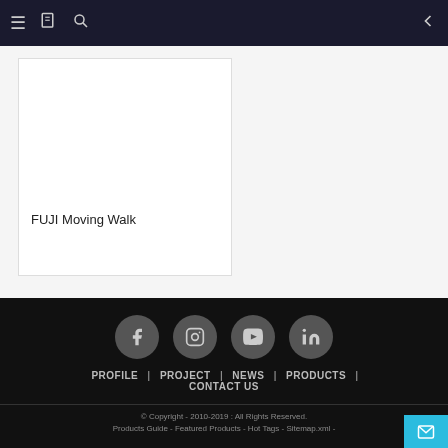Navigation bar with menu, book, search icons and back arrow
FUJI Moving Walk
[Figure (other): White product card area for FUJI Moving Walk with blank image space]
Social icons: Facebook, Instagram, YouTube, LinkedIn | PROFILE | PROJECT | NEWS | PRODUCTS | CONTACT US | © Copyright - 2010-2019 : All Rights Reserved. Products Guide - Featured Products - Hot Tags - Sitemap.xml -